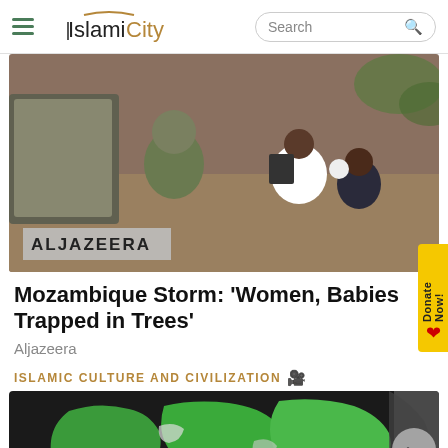IslamiCity
[Figure (photo): Al Jazeera news photo showing people in distress, with ALJAZEERA watermark in lower left]
Mozambique Storm: 'Women, Babies Trapped in Trees'
Aljazeera
ISLAMIC CULTURE AND CIVILIZATION
[Figure (photo): Map showing Islamic world regions highlighted in green, with crescent and star symbol]